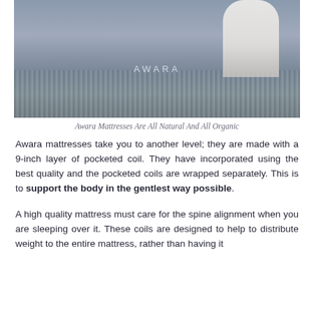[Figure (photo): Person sitting on an Awara mattress in a bedroom setting. The mattress has tufted grey fabric sides with the AWARA brand name visible. The person is wearing white pants and dark socks, sitting on the edge of the mattress.]
Awara Mattresses Are All Natural And All Organic
Awara mattresses take you to another level; they are made with a 9-inch layer of pocketed coil. They have incorporated using the best quality and the pocketed coils are wrapped separately. This is to support the body in the gentlest way possible.
A high quality mattress must care for the spine alignment when you are sleeping over it. These coils are designed to help to distribute weight to the entire mattress, rather than having it